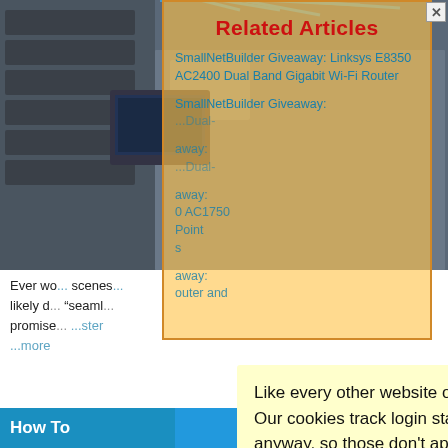[Figure (photo): Photo of networking/electronics equipment with cables on shelves in the background, partially visible under overlays]
Related Articles
SmallNetBuilder Giveaway: Linksys E8350 AC2400 Dual Band Gigabit Wi-Fi Router
SmallNetBuilder Giveaway: [Dual-...]
SmallNetBuilder Giveaway: [away: Dual-...]
SmallNetBuilder Giveaway: [0 AC1750 ... Point ...]
SmallNetBuilder Giveaway: [away: ...outer and...]
Ever wo... scenes... likely d... "seaml... promise...
Like every other website on the planet, SmallNetBuilder uses cookies. Our cookies track login status, but we only allow admins to log in anyway, so those don't apply to you. Any other cookies you pick up during your visit come from advertisers, which we don't control.
If you continue to use the site, you agree to tolerate our use of cookies. Thank you!
How To